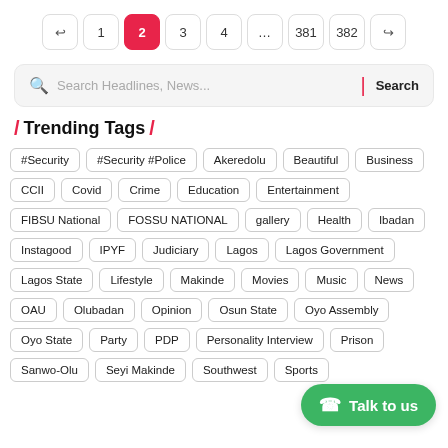Pagination: ← 1 2 3 4 … 381 382 →
Search Headlines, News... | Search
/ Trending Tags /
#Security
#Security #Police
Akeredolu
Beautiful
Business
CCII
Covid
Crime
Education
Entertainment
FIBSU National
FOSSU NATIONAL
gallery
Health
Ibadan
Instagood
IPYF
Judiciary
Lagos
Lagos Government
Lagos State
Lifestyle
Makinde
Movies
Music
News
OAU
Olubadan
Opinion
Osun State
Oyo Assembly
Oyo State
Party
PDP
Personality Interview
Prison
Sanwo-Olu
Seyi Makinde
Southwest
Sports
Talk to us